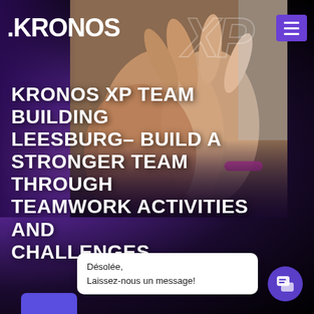[Figure (logo): KronosXP logo in white bold text on dark background with faint XP lettering]
[Figure (photo): Close-up photo of multiple hands joined together in a team huddle, with one person wearing a pink wristband]
KRONOS XP TEAM BUILDING LEESBURG– BUILD A STRONGER TEAM THROUGH TEAMWORK ACTIVITIES AND CHALLENGES
Désolée,
Laissez-nous un message!